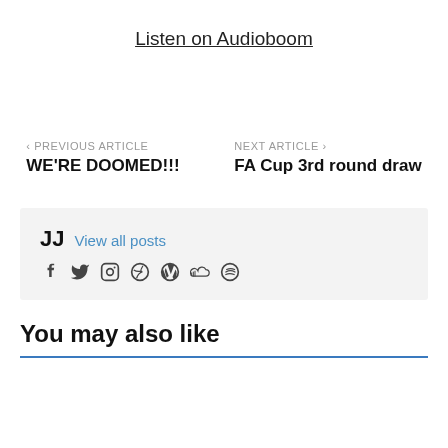Listen on Audioboom
< PREVIOUS ARTICLE  WE'RE DOOMED!!!
NEXT ARTICLE >  FA Cup 3rd round draw
JJ  View all posts
[Figure (other): Social media icons: Facebook, Twitter, Instagram, Dribbble, WordPress, SoundCloud, Spotify]
You may also like